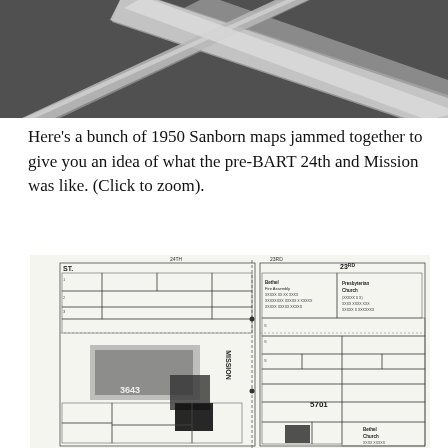[Figure (photo): Black and white aerial or close-up photo showing diagonal white lines or roads crossing against a dark background]
Here's a bunch of 1950 Sanborn maps jammed together to give you an idea of what the pre-BART 24th and Mission was like. (Click to zoom).
[Figure (map): 1950 Sanborn fire insurance maps of the 24th and Mission Street area in San Francisco, showing building footprints, lot lines, street labels including 'ST.', 'MISSION', '23RD', and block numbers such as '3643' and '5701'. Buildings labeled with uses including 'Bethel Assembly', 'Presbyterian Church', 'Bethel Church'. Map is black and white with detailed parcel and building outlines.]